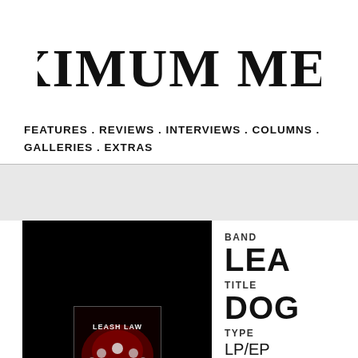MAXIMUM METAL
FEATURES . REVIEWS . INTERVIEWS . COLUMNS . GALLERIES . EXTRAS
[Figure (photo): Album cover for Leash Law - Dogpack, showing band members in dark red dramatic lighting with white face paint/masks, on a near-black background]
BAND
LEA
TITLE
DOG
TYPE
LP/EP
COMPANY
Black Lo